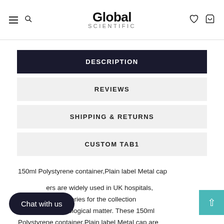Global Scientific
DESCRIPTION
REVIEWS
SHIPPING & RETURNS
CUSTOM TAB1
150ml Polystyrene container,Plain label Metal cap
ers are widely used in UK hospitals, rch laboratories for the collection and storage of biological matter. These 150ml Polystyrene container,Plain label Metal cap are